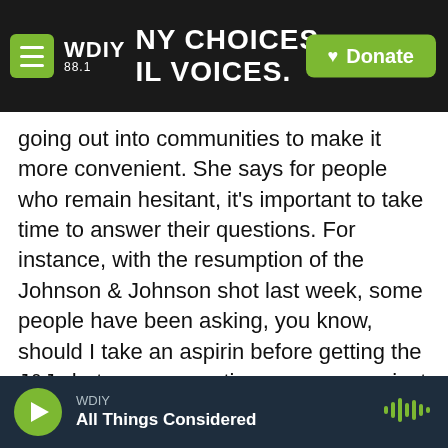WDIY 88.1 — MY CHOICES. REAL VOICES. | Donate
going out into communities to make it more convenient. She says for people who remain hesitant, it's important to take time to answer their questions. For instance, with the resumption of the Johnson & Johnson shot last week, some people have been asking, you know, should I take an aspirin before getting the J&J shot as a preventive measure against these rare blood clots? She tells them this is not a good idea.
JAIMIE MEYER: To have everyone take an aspirin on a daily basis to prevent an extraordinarily rare event, probably not helpful and, in fact, maybe
WDIY — All Things Considered